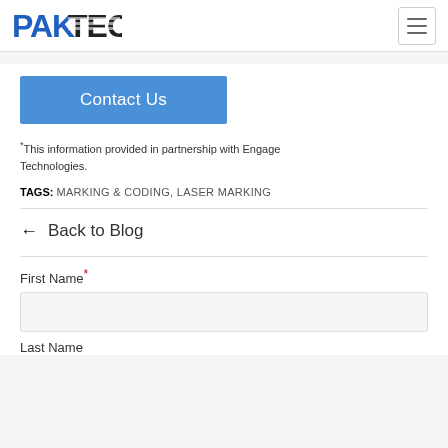PAKTEC [logo] with hamburger menu icon
Contact Us
*This information provided in partnership with Engage Technologies.
TAGS: MARKING & CODING, LASER MARKING
← Back to Blog
First Name*
Last Name